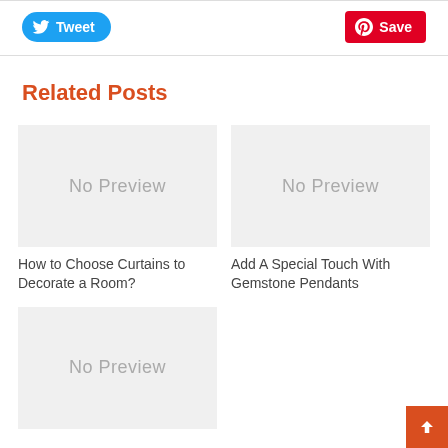[Figure (screenshot): Tweet button (Twitter/X blue pill button with bird icon and 'Tweet' label)]
[Figure (screenshot): Save button (Pinterest red rounded rectangle with P icon and 'Save' label)]
Related Posts
[Figure (photo): No Preview placeholder image for first related post]
How to Choose Curtains to Decorate a Room?
[Figure (photo): No Preview placeholder image for second related post]
Add A Special Touch With Gemstone Pendants
[Figure (photo): No Preview placeholder image for third related post (partially visible)]